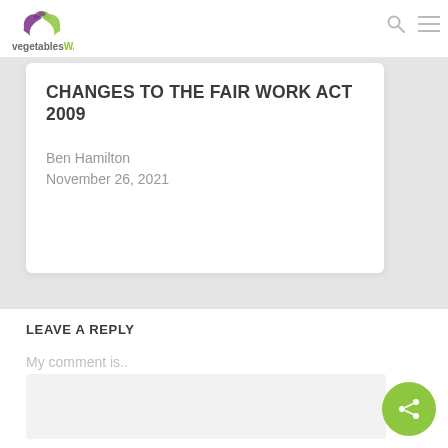[Figure (logo): VegetablesWA logo — stylized green/purple leaf icon above the text 'vegetablesWA']
CHANGES TO THE FAIR WORK ACT 2009
Ben Hamilton
November 26, 2021
LEAVE A REPLY
My comment is..